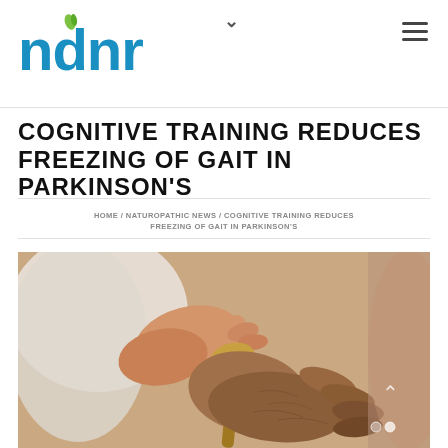ndnr (logo) — navigation header
COGNITIVE TRAINING REDUCES FREEZING OF GAIT IN PARKINSON'S
HOME / NATUROPATHIC NEWS / COGNITIVE TRAINING REDUCES FREEZING OF GAIT IN PARKINSON'S
[Figure (photo): Close-up photo of a caregiver's hands holding the hands of an elderly person gripping a cane, warm skin tones]